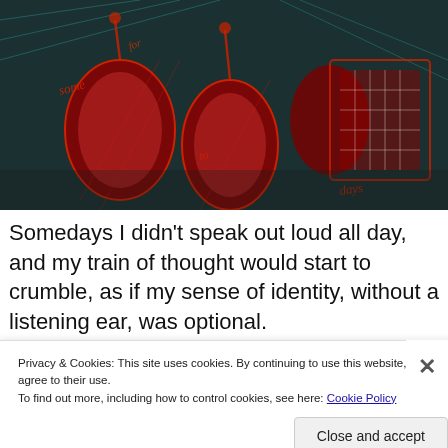[Figure (illustration): A colorful woodcut or linocut artwork with red, black, and teal tones showing abstract organic shapes with cursive text fragments embedded within the design.]
Somedays I didn't speak out loud all day, and my train of thought would start to crumble, as if my sense of identity, without a listening ear, was optional.
Privacy & Cookies: This site uses cookies. By continuing to use this website, you agree to their use.
To find out more, including how to control cookies, see here: Cookie Policy
Close and accept